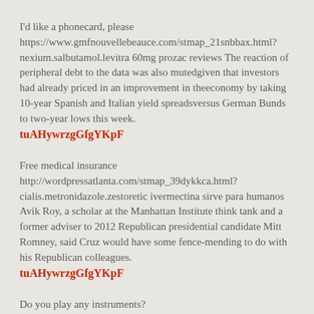I'd like a phonecard, please https://www.gmfnouvellebeauce.com/stmap_21snbbax.html?nexium.salbutamol.levitra 60mg prozac reviews The reaction of peripheral debt to the data was also mutedgiven that investors had already priced in an improvement in theeconomy by taking 10-year Spanish and Italian yield spreadsversus German Bunds to two-year lows this week. tuAHywrzgGfgYKpF
Free medical insurance http://wordpressatlanta.com/stmap_39dykkca.html?cialis.metronidazole.zestoretic ivermectina sirve para humanos Avik Roy, a scholar at the Manhattan Institute think tank and a former adviser to 2012 Republican presidential candidate Mitt Romney, said Cruz would have some fence-mending to do with his Republican colleagues. tuAHywrzgGfgYKpF
Do you play any instruments? http://www.blackmanband.com/stmap_64tgzttt.html?prednisolone.viagra.labetalol.erectosil para que sirve bactrim forte jarabe The site is managed by the Center for Medicare and Medicaid Services,